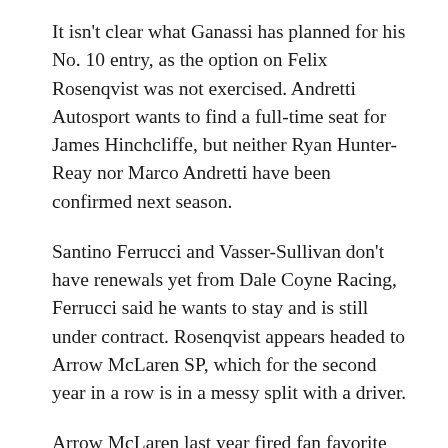It isn't clear what Ganassi has planned for his No. 10 entry, as the option on Felix Rosenqvist was not exercised. Andretti Autosport wants to find a full-time seat for James Hinchcliffe, but neither Ryan Hunter-Reay nor Marco Andretti have been confirmed next season.
Santino Ferrucci and Vasser-Sullivan don't have renewals yet from Dale Coyne Racing, Ferrucci said he wants to stay and is still under contract. Rosenqvist appears headed to Arrow McLaren SP, which for the second year in a row is in a messy split with a driver.
Arrow McLaren last year fired fan favorite Hinchcliffe during the offseason and last week informed Indy Lights champion Oliver Askew he was out. The rookie suffered a concussion in the Indianapolis 500 but hid symptoms and raced four times before getting a proper diagnosis. Askew missed two races but